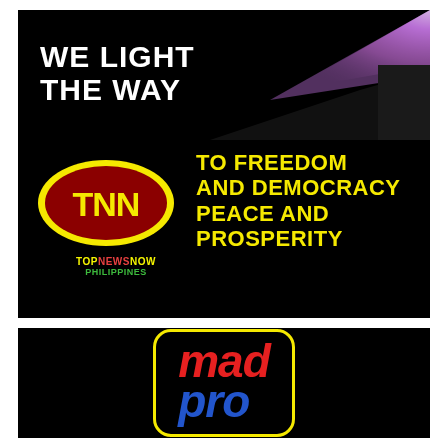[Figure (logo): TopNewsNow Philippines banner on black background. Top-left: white bold text 'WE LIGHT THE WAY'. Top-right: photo of a purple/pink light beam in darkness. Center-left: TNN oval logo (dark red/maroon ellipse with yellow TNN letters), labeled 'TOPNEWSNOW PHILIPPINES'. Center-right: large yellow bold text 'TO FREEDOM AND DEMOCRACY PEACE AND PROSPERITY'.]
[Figure (logo): madpro logo on black background: yellow rounded rectangle border containing the word 'mad' in bold red italic and 'pro' in bold blue italic stacked vertically.]